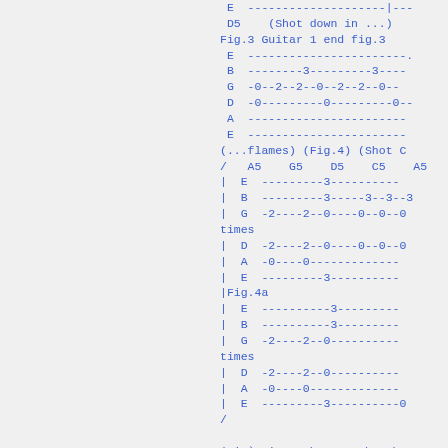E  --------------------|---
D5    (Shot down in ...)
Fig.3 Guitar 1 end fig.3
 E  -----------------------
 B  --------3---------3----
 G  -0--2--2--0--2--2--0--
 D  -0---------0---------0--
 A  -----------------------
 E  -----------------------
(...flames) (Fig.4) (Shot C
/   A5    G5    D5    C5    A5
|  E  ---------3----------
|  B  ---------3-----3--3--3
|  G  -2----2--0----0--0--0
times
|  D  -2----2--0----0--0--0
|  A  -0----0-----------
|  E  ---------3----------
|Fig.4a
|  E  ----------3----------
|  B  ----------3----------
|  G  -2----2--0-----------
times
|  D  -2----2--0-----------
|  A  -0----0-----------
|  E  ---------3----------0
/

(Ain`t it a shame,to be sh

flames.-- D5  with fig.3
 E  ----------------------
 D
(Ain`t it a shame,to be sh
flames.-- D5  with fig.3